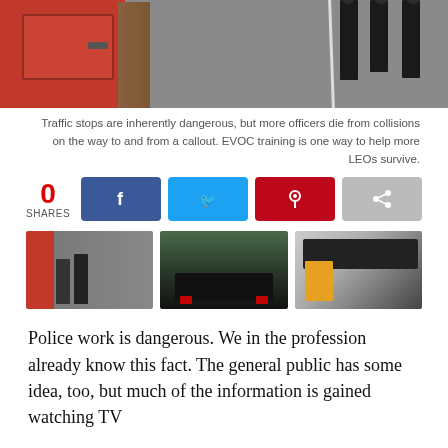[Figure (photo): Top of page: photo showing a red car door on the left, a tree trunk in the middle, officers standing on a road in the background]
Traffic stops are inherently dangerous, but more officers die from collisions on the way to and from a callout. EVOC training is one way to help more LEOs survive.
[Figure (infographic): Social share bar showing 0 shares, with Facebook, Twitter, Pinterest, and share buttons]
[Figure (photo): Three thumbnail photos: traffic stop scene with red car and officers, police car driving on road, person using a driving simulator]
Police work is dangerous. We in the profession already know this fact. The general public has some idea, too, but much of the information is gained watching TV